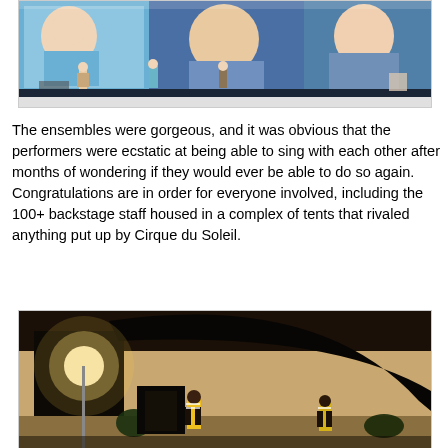[Figure (photo): Stage performance photo showing performers on a large stage with giant video screens behind them displaying close-up faces of performers. Several performers are visible on stage with stage lighting.]
The ensembles were gorgeous, and it was obvious that the performers were ecstatic at being able to sing with each other after months of wondering if they would ever be able to do so again. Congratulations are in order for everyone involved, including the 100+ backstage staff housed in a complex of tents that rivaled anything put up by Cirque du Soleil.
[Figure (photo): Nighttime outdoor photo showing workers in yellow safety vests near large dark tent structures with a bright light illuminating the scene. The setting appears to be a backstage or staging area.]